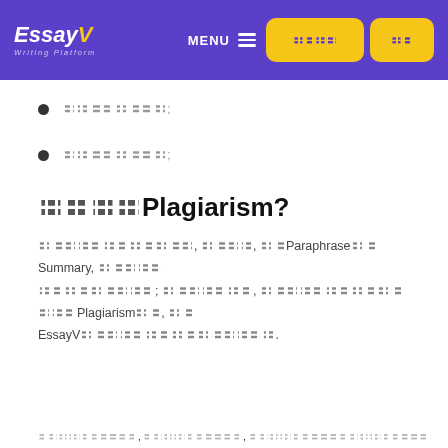EssayV Writing Platform — Navigation header with MENU and two yellow buttons
〓〓〓〓〓〓〓〓;
〓〓〓〓〓〓〓〓;
〓〓〓〓Plagiarism?
〓〓〓〓〓〓〓〓〓〓〓〓, 〓〓〓〓, 〓〓Paraphrase〓〓Summary, 〓〓〓〓〓 〓〓〓〓〓〓〓〓〓; 〓〓〓〓〓〓〓, 〓〓〓〓〓〓〓〓〓〓〓〓〓〓〓Plagiarism〓〓, 〓〓 EssayV〓〓〓〓〓〓〓〓〓〓〓〓〓〓〓.
〓〓〓〓〓〓〓〓〓〓, 〓〓〓〓〓〓〓〓〓〓, 〓〓〓〓〓〓〓〓〓〓〓〓〓〓〓〓〓〓